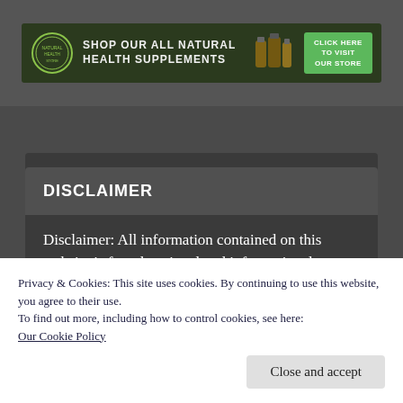[Figure (illustration): Green banner advertisement for all natural health supplements with logo circle, supplement bottles image, and green 'Click Here to Visit Our Store' button]
DISCLAIMER
Disclaimer: All information contained on this website is for educational and informational purposes only and is based on traditional usage and research articles. None of this information is intended to replace the services of a qualified
Privacy & Cookies: This site uses cookies. By continuing to use this website, you agree to their use.
To find out more, including how to control cookies, see here:
Our Cookie Policy
Close and accept